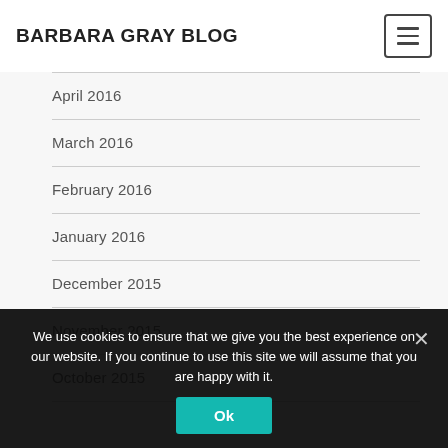BARBARA GRAY BLOG
April 2016
March 2016
February 2016
January 2016
December 2015
November 2015
October 2015
We use cookies to ensure that we give you the best experience on our website. If you continue to use this site we will assume that you are happy with it.